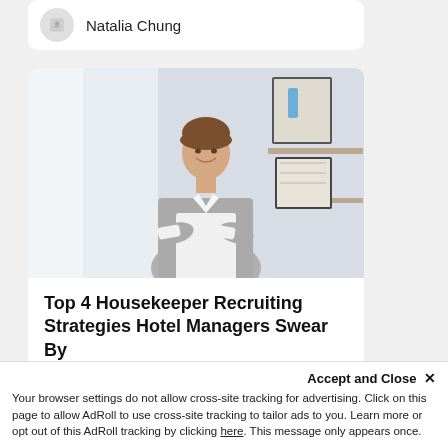Natalia Chung
[Figure (photo): A smiling woman in a gray and white housekeeper/maid uniform with arms crossed, standing in a hotel room with shelves and artwork on the wall in the background.]
Top 4 Housekeeper Recruiting Strategies Hotel Managers Swear By
Use these 4 recruitment strategies …
Accept and Close ✕
Your browser settings do not allow cross-site tracking for advertising. Click on this page to allow AdRoll to use cross-site tracking to tailor ads to you. Learn more or opt out of this AdRoll tracking by clicking here. This message only appears once.